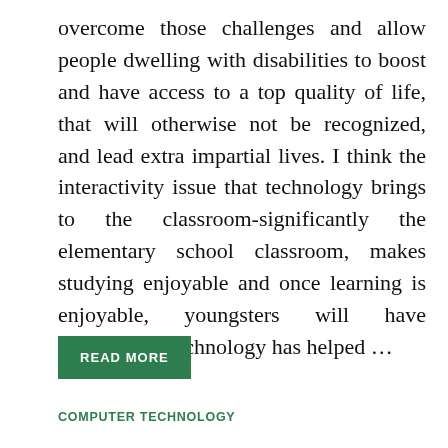overcome those challenges and allow people dwelling with disabilities to boost and have access to a top quality of life, that will otherwise not be recognized, and lead extra impartial lives. I think the interactivity issue that technology brings to the classroom-significantly the elementary school classroom, makes studying enjoyable and once learning is enjoyable, youngsters will have interaction. Technology has helped …
READ MORE
COMPUTER TECHNOLOGY